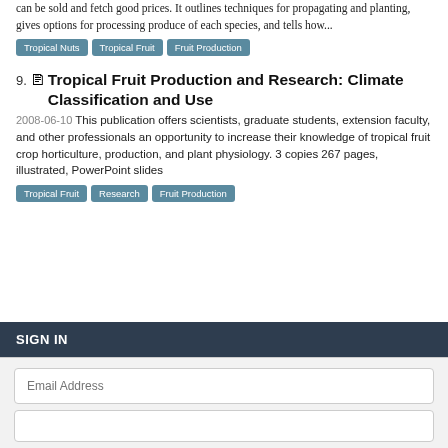can be sold and fetch good prices. It outlines techniques for propagating and planting, gives options for processing produce of each species, and tells how...
Tropical Nuts | Tropical Fruit | Fruit Production
9. 🖹 Tropical Fruit Production and Research: Climate Classification and Use
2008-06-10 This publication offers scientists, graduate students, extension faculty, and other professionals an opportunity to increase their knowledge of tropical fruit crop horticulture, production, and plant physiology. 3 copies 267 pages, illustrated, PowerPoint slides
Tropical Fruit | Research | Fruit Production
SIGN IN
Email Address